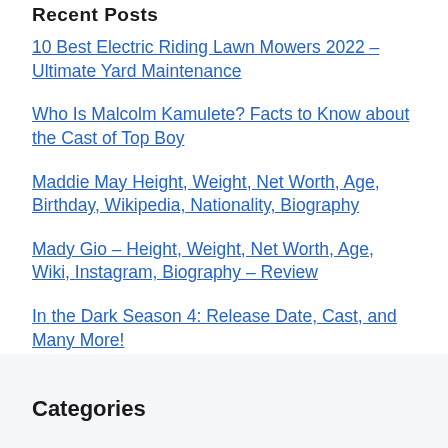Recent Posts
10 Best Electric Riding Lawn Mowers 2022 – Ultimate Yard Maintenance
Who Is Malcolm Kamulete? Facts to Know about the Cast of Top Boy
Maddie May Height, Weight, Net Worth, Age, Birthday, Wikipedia, Nationality, Biography
Mady Gio – Height, Weight, Net Worth, Age, Wiki, Instagram, Biography – Review
In the Dark Season 4: Release Date, Cast, and Many More!
Categories